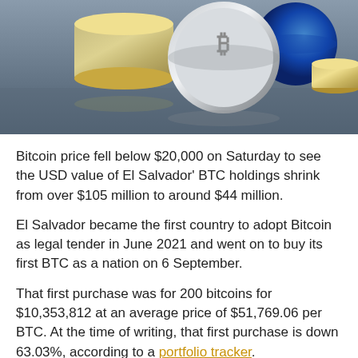[Figure (photo): Photograph of Bitcoin coins stacked on a reflective gray surface, with a blue circular object visible in the background]
Bitcoin price fell below $20,000 on Saturday to see the USD value of El Salvador' BTC holdings shrink from over $105 million to around $44 million.
El Salvador became the first country to adopt Bitcoin as legal tender in June 2021 and went on to buy its first BTC as a nation on 6 September.
That first purchase was for 200 bitcoins for $10,353,812 at an average price of $51,769.06 per BTC. At the time of writing, that first purchase is down 63.03%, according to a portfolio tracker.
El Salvador bought more Bitcoin, utilizing dips to add